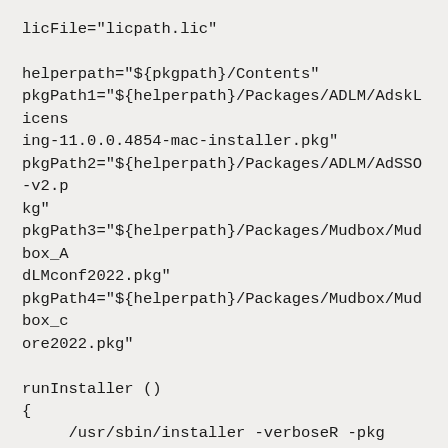licFile="licpath.lic"

helperpath="${pkgpath}/Contents"
pkgPath1="${helperpath}/Packages/ADLM/AdskLicensing-11.0.0.4854-mac-installer.pkg"
pkgPath2="${helperpath}/Packages/ADLM/AdSSO-v2.pkg"
pkgPath3="${helperpath}/Packages/Mudbox/Mudbox_AdLMconf2022.pkg"
pkgPath4="${helperpath}/Packages/Mudbox/Mudbox_core2022.pkg"

runInstaller ()
{
    /usr/sbin/installer -verboseR -pkg "${pkgPath1}" -target /
    /usr/sbin/installer -verboseR -pkg "${pkgPath2}" -target /
    /usr/sbin/installer -verboseR -pkg "${pkgPath3}" -target /